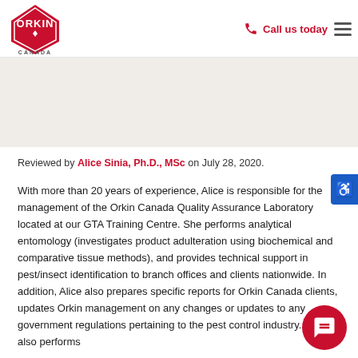[Figure (logo): Orkin Canada logo — red diamond with ORKIN text and CANADA below]
Call us today
Reviewed by Alice Sinia, Ph.D., MSc on July 28, 2020.
With more than 20 years of experience, Alice is responsible for the management of the Orkin Canada Quality Assurance Laboratory located at our GTA Training Centre. She performs analytical entomology (investigates product adulteration using biochemical and comparative tissue methods), and provides technical support in pest/insect identification to branch offices and clients nationwide. In addition, Alice also prepares specific reports for Orkin Canada clients, updates Orkin management on any changes or updates to any government regulations pertaining to the pest control industry. Alice also performs